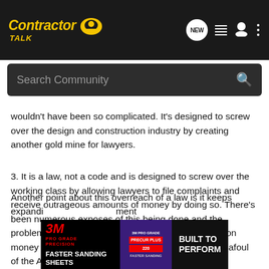Contractor Talk — NEW [search icon] [list icon] [user icon] [menu icon]
Search Community
wouldn't have been so complicated. It's designed to screw over the design and construction industry by creating another gold mine for lawyers.
3. It is a law, not a code and is designed to screw over the working class by allowing lawyers to file complaints and receive outrageous amounts of money by doing so. There's been numerous exposes of this being done and the problem being forgotten about as soon as the extortion money has been paid. Tell anyone who has ever run afoul of the ADA that there is no enforcement mechanism.
Another point about this overreach of a law is it keeps expandi... t also keeps g... ment
[Figure (screenshot): 3M Pro Grade Precision advertisement banner: 'FASTER SANDING SHEETS' on left, product image in center, 'BUILT TO PERFORM' on right]